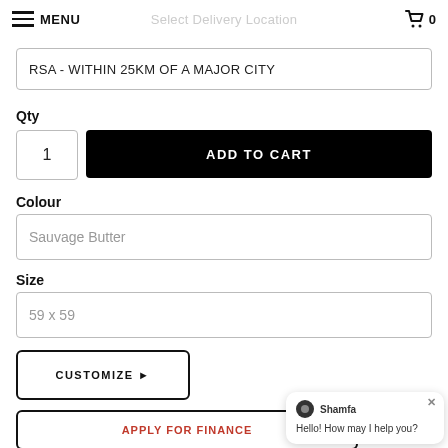MENU | Select Delivery Location | 0
RSA - WITHIN 25KM OF A MAJOR CITY
Qty
1
ADD TO CART
Colour
Sauvage Butter
Size
59 x 59
CUSTOMIZE ▶
APPLY FOR FINANCE
Hello! How may I help you?